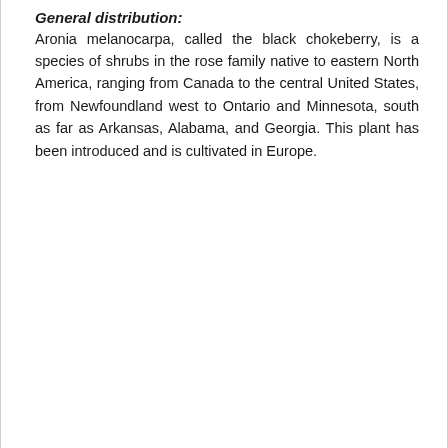General distribution:
Aronia melanocarpa, called the black chokeberry, is a species of shrubs in the rose family native to eastern North America, ranging from Canada to the central United States, from Newfoundland west to Ontario and Minnesota, south as far as Arkansas, Alabama, and Georgia. This plant has been introduced and is cultivated in Europe.